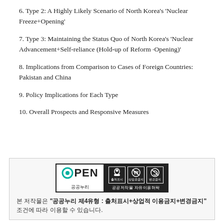6. Type 2: A Highly Likely Scenario of North Korea's 'Nuclear Freeze+Opening'
7. Type 3: Maintaining the Status Quo of North Korea's 'Nuclear Advancement+Self-reliance (Hold-up of Reform ·Opening)'
8. Implications from Comparison to Cases of Foreign Countries: Pakistan and China
9. Policy Implications for Each Type
10. Overall Prospects and Responsive Measures
[Figure (logo): OPEN license logo (공공누리) with icons for 출처표시, 상업용금지, 변경금지]
본 저작물은 "공공누리 제4유형 : 출처표시+상업적 이용금지+변경금지" 조건에 따라 이용할 수 있습니다.